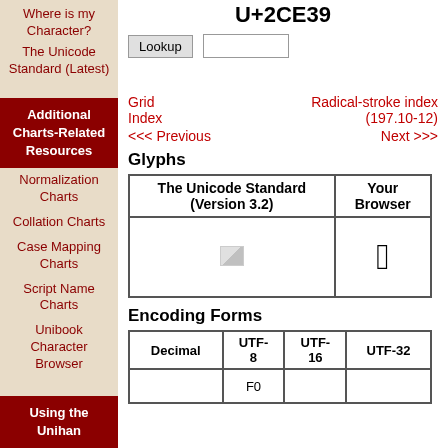U+2CE39
Where is my Character?
The Unicode Standard (Latest)
Additional Charts-Related Resources
Normalization Charts
Collation Charts
Case Mapping Charts
Script Name Charts
Unibook Character Browser
Using the Unihan
Grid Index    Radical-stroke index (197.10-12)
<<< Previous    Next >>>
Glyphs
| The Unicode Standard (Version 3.2) | Your Browser |
| --- | --- |
| [broken image] | □ |
Encoding Forms
| Decimal | UTF-8 | UTF-16 | UTF-32 |
| --- | --- | --- | --- |
|  | F0 |  |  |